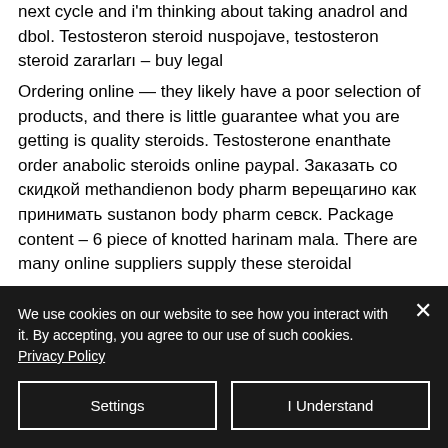next cycle and i'm thinking about taking anadrol and dbol. Testosteron steroid nuspojave, testosteron steroid zararları – buy legal
Ordering online — they likely have a poor selection of products, and there is little guarantee what you are getting is quality steroids. Testosterone enanthate order anabolic steroids online paypal. Заказать со скидкой methandienon body pharm верещагино как принимать sustanon body pharm севск. Package content – 6 piece of knotted harinam mala. There are many online suppliers supply these steroidal
We use cookies on our website to see how you interact with it. By accepting, you agree to our use of such cookies. Privacy Policy
Settings
I Understand